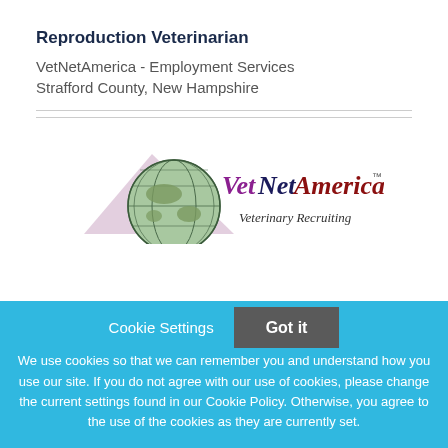Reproduction Veterinarian
VetNetAmerica - Employment Services
Strafford County, New Hampshire
[Figure (logo): VetNetAmerica logo with globe and 'Veterinary Recruiting' text]
Cookie Settings   Got it
We use cookies so that we can remember you and understand how you use our site. If you do not agree with our use of cookies, please change the current settings found in our Cookie Policy. Otherwise, you agree to the use of the cookies as they are currently set.